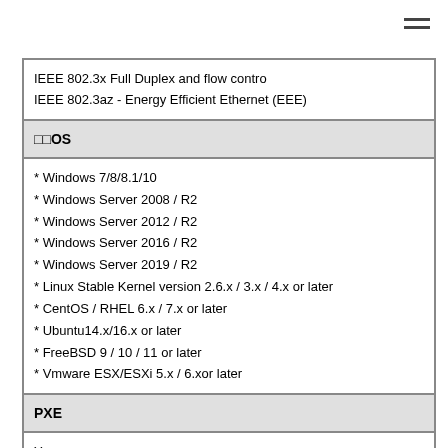IEEE 802.3x Full Duplex and flow contro
IEEE 802.3az - Energy Efficient Ethernet (EEE)
OS
* Windows 7/8/8.1/10
* Windows Server 2008 / R2
* Windows Server 2012 / R2
* Windows Server 2016 / R2
* Windows Server 2019 / R2
* Linux Stable Kernel version 2.6.x / 3.x / 4.x or later
* CentOS / RHEL 6.x / 7.x or later
* Ubuntu14.x/16.x or later
* FreeBSD 9 / 10 / 11 or later
* Vmware ESX/ESXi 5.x / 6.xor later
PXE
Yes
DPDK
Yes